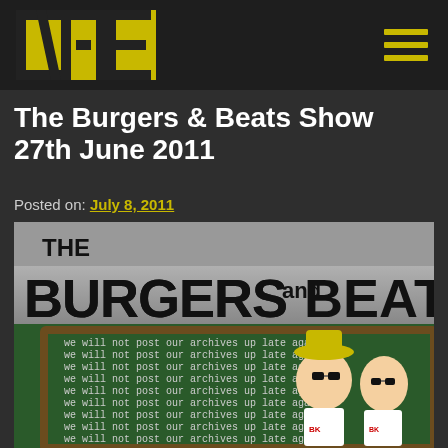VB logo and navigation menu
The Burgers & Beats Show 27th June 2011
Posted on: July 8, 2011
[Figure (illustration): Burgers and Beats Show promotional image with cartoon characters on a chalkboard background. Text on chalkboard repeated: 'we will not post our archives up late again!' Two cartoon characters wearing aprons, one with a hat and sunglasses, one with sunglasses only.]